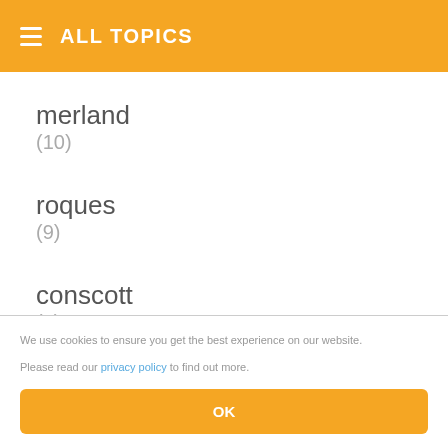ALL TOPICS
merland
(10)
roques
(9)
conscott
(9)
jmcorgan
We use cookies to ensure you get the best experience on our website.

Please read our privacy policy to find out more.

OK